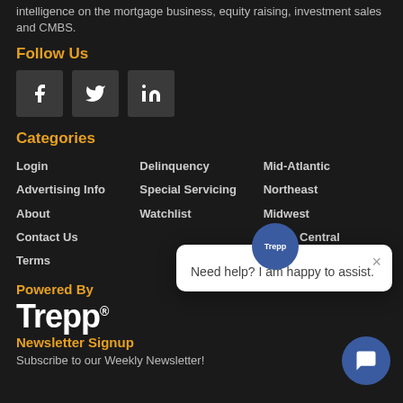intelligence on the mortgage business, equity raising, investment sales and CMBS.
Follow Us
[Figure (other): Social media icons: Facebook, Twitter, LinkedIn]
Categories
Login
Advertising Info
About
Contact Us
Terms
Delinquency
Special Servicing
Watchlist
Mid-Atlantic
Northeast
Midwest
South Central
Powered By
[Figure (logo): Trepp logo]
Newsletter Signup
Subscribe to our Weekly Newsletter!
[Figure (other): Chat popup: Need help? I am happy to assist.]